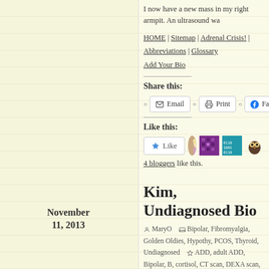I now have a new mass in my right armpit. An ultrasound wa
HOME | Sitemap | Adrenal Crisis! | Abbreviations | Glossary
Add Your Bio
Share this:
Email | Print | Facebook | Twit
Like this:
Like
4 bloggers like this.
November 11, 2013
Kim, Undiagnosed Bio
MaryO | Bipolar, Fibromyalgia, Golden Oldies, Hypothy, PCOS, Thyroid, Undiagnosed | ADD, adult ADD, Bipolar, B, cortisol, CT scan, DEXA scan, DHEA, dizziness, duodenitis, Fi, gluten sensitivity, Golden Oldie, growth hormone, hernia, hype, liver, MRI, ovary, PCOS, peripheral neuropathy, Polycystic ova, Rathke's cleft cyst, REM, sinus, testosterone, undiagnosed, Vi